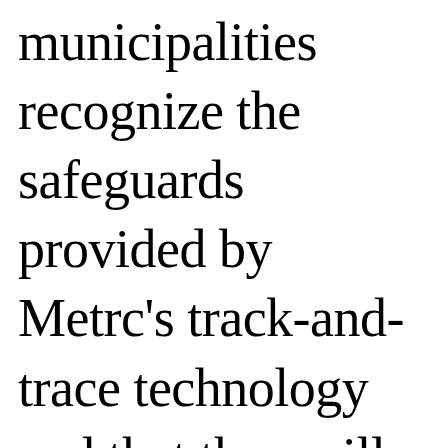municipalities recognize the safeguards provided by Metrc's track-and-trace technology and that they will be